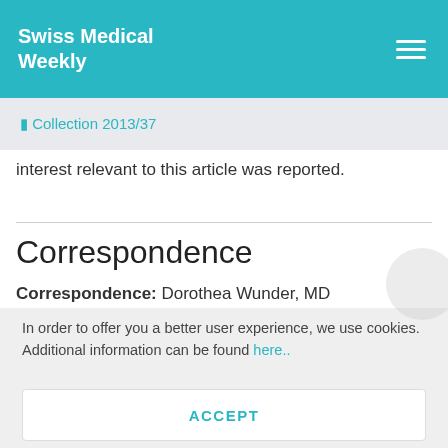Swiss Medical Weekly
⬡ Collection 2013/37
interest relevant to this article was reported.
Correspondence
Correspondence: Dorothea Wunder, MD
In order to offer you a better user experience, we use cookies. Additional information can be found here..
ACCEPT